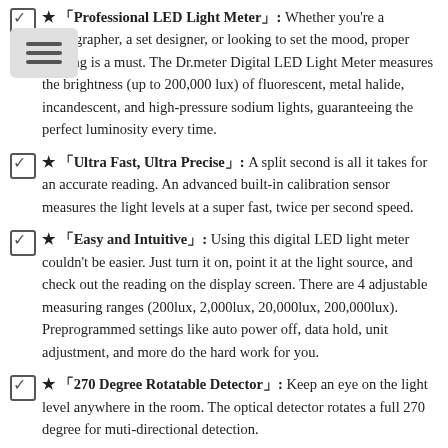★ 「Professional LED Light Meter」: Whether you're a photographer, a set designer, or looking to set the mood, proper lighting is a must. The Dr.meter Digital LED Light Meter measures the brightness (up to 200,000 lux) of fluorescent, metal halide, incandescent, and high-pressure sodium lights, guaranteeing the perfect luminosity every time.
★ 「Ultra Fast, Ultra Precise」: A split second is all it takes for an accurate reading. An advanced built-in calibration sensor measures the light levels at a super fast, twice per second speed.
★ 「Easy and Intuitive」: Using this digital LED light meter couldn't be easier. Just turn it on, point it at the light source, and check out the reading on the display screen. There are 4 adjustable measuring ranges (200lux, 2,000lux, 20,000lux, 200,000lux). Preprogrammed settings like auto power off, data hold, unit adjustment, and more do the hard work for you.
★ 「270 Degree Rotatable Detector」: Keep an eye on the light level anywhere in the room. The optical detector rotates a full 270 degree for muti-directional detection.